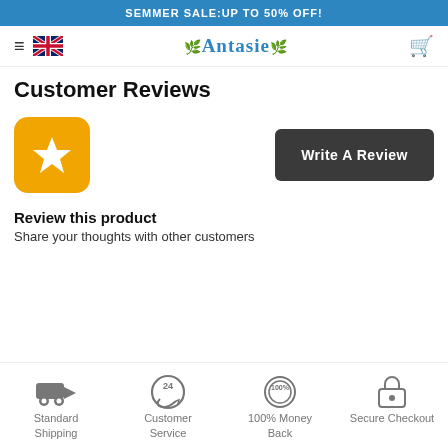SEMMER SALE:UP TO 50% OFF!
[Figure (screenshot): Navigation bar with hamburger menu, UK flag, Antasie brand logo, and shopping cart icon]
Customer Reviews
[Figure (illustration): Orange rounded square with white star icon and dark button labeled Write A Review]
Review this product
Share your thoughts with other customers
[Figure (infographic): Bottom strip with four service icons: Standard Shipping (truck), Customer Service (24h phone), 100% Money Back (badge), Secure Checkout (lock)]